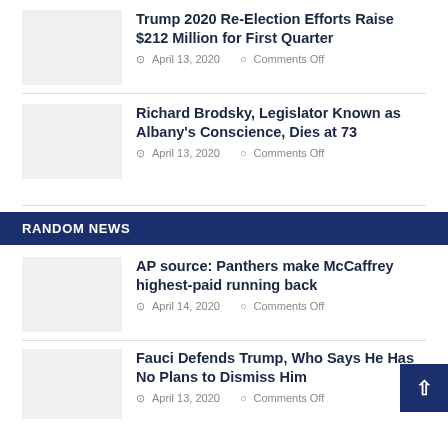[Figure (photo): Placeholder thumbnail for Trump re-election article]
Trump 2020 Re-Election Efforts Raise $212 Million for First Quarter
April 13, 2020   Comments Off
[Figure (photo): Placeholder thumbnail for Richard Brodsky article]
Richard Brodsky, Legislator Known as Albany's Conscience, Dies at 73
April 13, 2020   Comments Off
RANDOM NEWS
[Figure (photo): Placeholder thumbnail for Panthers McCaffrey article]
AP source: Panthers make McCaffrey highest-paid running back
April 14, 2020   Comments Off
[Figure (photo): Placeholder thumbnail for Fauci article]
Fauci Defends Trump, Who Says He Has No Plans to Dismiss Him
April 13, 2020   Comments Off